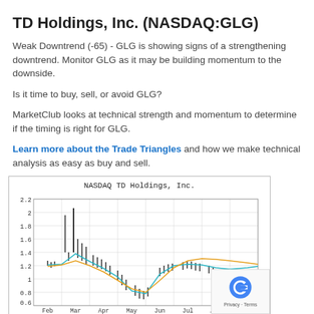TD Holdings, Inc. (NASDAQ:GLG)
Weak Downtrend (-65) - GLG is showing signs of a strengthening downtrend. Monitor GLG as it may be building momentum to the downside.
Is it time to buy, sell, or avoid GLG?
MarketClub looks at technical strength and momentum to determine if the timing is right for GLG.
Learn more about the Trade Triangles and how we make technical analysis as easy as buy and sell.
[Figure (line-chart): Stock price chart for NASDAQ TD Holdings, Inc. (GLG) showing candlestick price data from Feb through Sep, with y-axis ranging from 0.6 to 2.2. Two moving average lines (teal/cyan and orange) are overlaid on the candlestick bars. Price peaks around 1.85 in Mar, drops to about 0.9 in Jun, then recovers to about 1.2.]